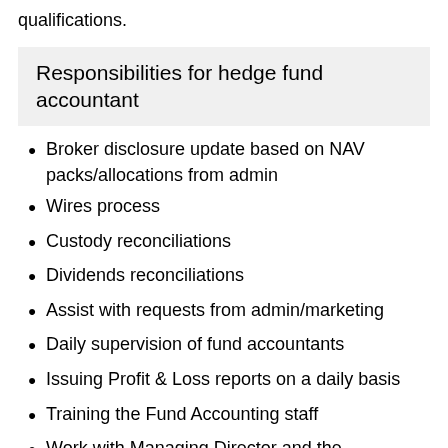qualifications.
Responsibilities for hedge fund accountant
Broker disclosure update based on NAV packs/allocations from admin
Wires process
Custody reconciliations
Dividends reconciliations
Assist with requests from admin/marketing
Daily supervision of fund accountants
Issuing Profit & Loss reports on a daily basis
Training the Fund Accounting staff
Work with Managing Director and the investment team to ensure proper accounting and reporting of all transactions
Review financial statements from operating